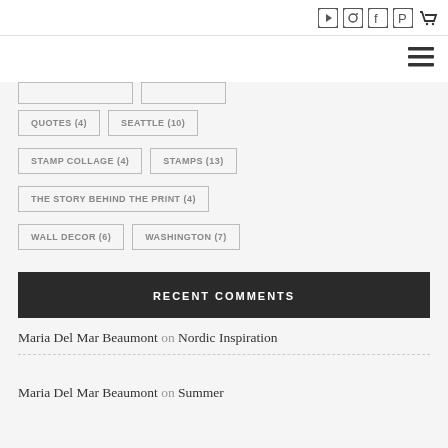Icons row and hamburger menu
QUOTES (4)
SEATTLE (10)
STAMP COLLAGE (4)
STAMPS (13)
THE STORY BEHIND THE PRINT (4)
WALL DECOR (6)
WASHINGTON (7)
RECENT COMMENTS
Maria Del Mar Beaumont on Nordic Inspiration
Maria Del Mar Beaumont on Summer